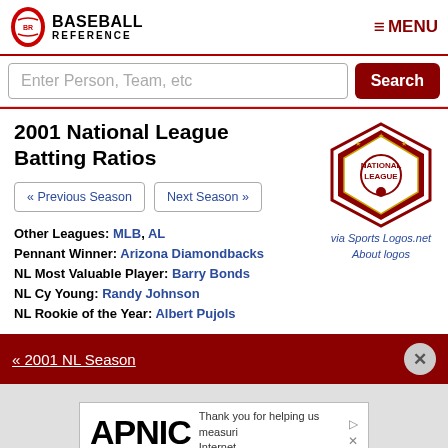Baseball Reference
2001 National League Batting Ratios
« Previous Season   Next Season »
Other Leagues: MLB, AL
Pennant Winner: Arizona Diamondbacks
NL Most Valuable Player: Barry Bonds
NL Cy Young: Randy Johnson
NL Rookie of the Year: Albert Pujols
[Figure (logo): National League logo]
via Sports Logos.net
About logos
« 2001 NL Season
[Figure (photo): APNIC advertisement - Thank you for helping us measure the Internet.]